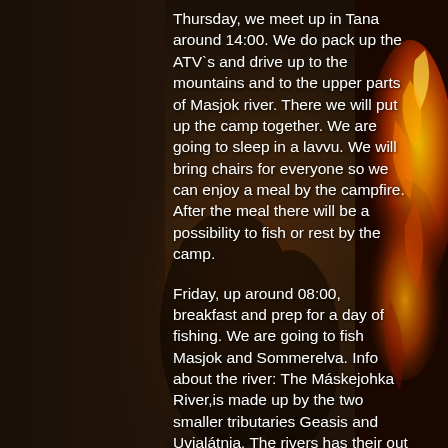[Figure (photo): Dark background photo with a silhouette of hands/person near a campfire, fire flames visible on the right side with warm orange and red tones]
Thursday, we meet up in Tana around 14:00. We do pack up the ATV`s and drive up to the mountains and to the upper parts of Masjok river. There we will put up the camp together. We are going to sleep in a lavvu. We will bring chairs for everyone so we can enjoy a meal by the campfire. After the meal there will be a possibility to fish or rest by the camp.
Friday, up around 08:00, breakfast and prep for a day of fishing. We are going to fish Masjok and Sommerelva. Info about the river: The Máskejohka River,is made up by the two smaller tributaries Geasis and Uvjalátnja. The rivers has their out springs far into the Finnmark Plateau, and drains into the Tana River. In total it is about 55 km of